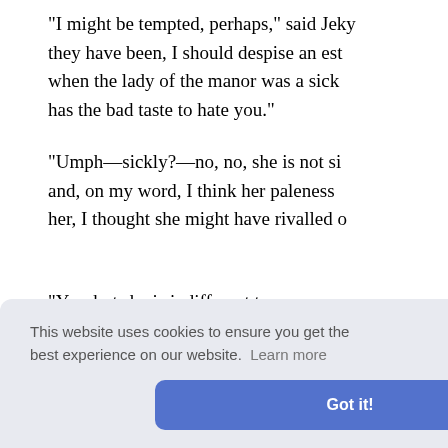"I might be tempted, perhaps," said Jeky they have been, I should despise an est when the lady of the manor was a sick has the bad taste to hate you."
"Umph—sickly?—no, no, she is not si and, on my word, I think her paleness her, I thought she might have rivalled o
"Yes; but she is indifferent to you—you
"She is any thing but indifferent to me, for her dislike piques me: and besides, eyes of a inking u and talk j rs."
This website uses cookies to ensure you get the best experience on our website. Learn more
Got it!
"N...